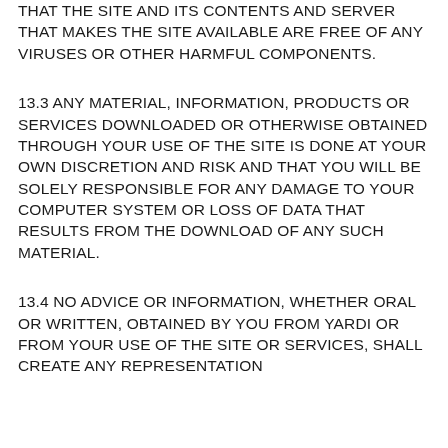THAT THE SITE AND ITS CONTENTS AND SERVER THAT MAKES THE SITE AVAILABLE ARE FREE OF ANY VIRUSES OR OTHER HARMFUL COMPONENTS.
13.3 ANY MATERIAL, INFORMATION, PRODUCTS OR SERVICES DOWNLOADED OR OTHERWISE OBTAINED THROUGH YOUR USE OF THE SITE IS DONE AT YOUR OWN DISCRETION AND RISK AND THAT YOU WILL BE SOLELY RESPONSIBLE FOR ANY DAMAGE TO YOUR COMPUTER SYSTEM OR LOSS OF DATA THAT RESULTS FROM THE DOWNLOAD OF ANY SUCH MATERIAL.
13.4 NO ADVICE OR INFORMATION, WHETHER ORAL OR WRITTEN, OBTAINED BY YOU FROM YARDI OR FROM YOUR USE OF THE SITE OR SERVICES, SHALL CREATE ANY REPRESENTATION